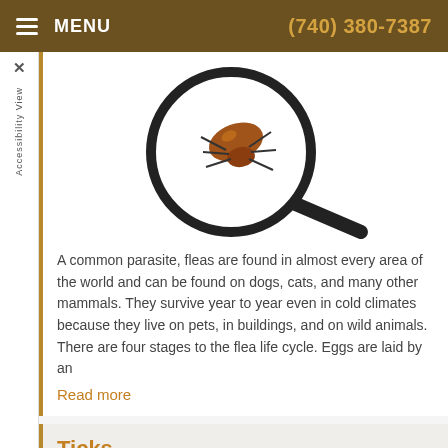MENU  (740) 380-7387
[Figure (photo): A flea viewed under a magnifying glass, close-up photo on white background]
A common parasite, fleas are found in almost every area of the world and can be found on dogs, cats, and many other mammals. They survive year to year even in cold climates because they live on pets, in buildings, and on wild animals. There are four stages to the flea life cycle. Eggs are laid by an
Read more
Ticks
Category: Pet Health, Pests and Parasites
[Figure (photo): A tick close-up photo]